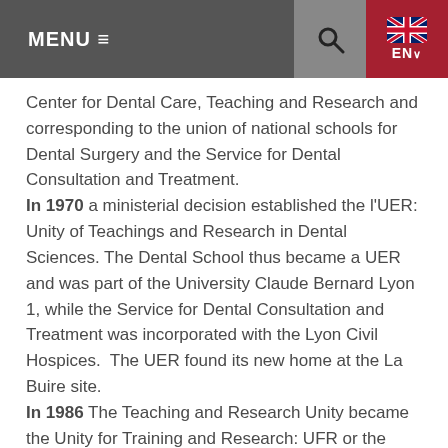MENU ≡
Center for Dental Care, Teaching and Research and corresponding to the union of national schools for Dental Surgery and the Service for Dental Consultation and Treatment.
In 1970 a ministerial decision established the l'UER: Unity of Teachings and Research in Dental Sciences. The Dental School thus became a UER and was part of the University Claude Bernard Lyon 1, while the Service for Dental Consultation and Treatment was incorporated with the Lyon Civil Hospices.  The UER found its new home at the La Buire site.
In 1986 The Teaching and Research Unity became the Unity for Training and Research: UFR or the Dental Faculty.
ITS ORGANIZATION
Organization of the UFR...